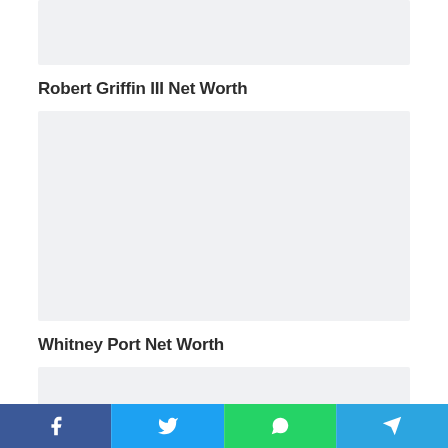[Figure (photo): Placeholder image area at top (light gray background)]
Robert Griffin III Net Worth
[Figure (photo): Placeholder image area middle (light gray background)]
Whitney Port Net Worth
[Figure (photo): Placeholder image area at bottom (light gray background)]